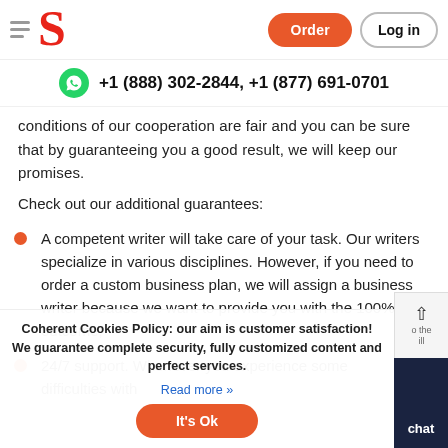Order  Log in  +1 (888) 302-2844, +1 (877) 691-0701
conditions of our cooperation are fair and you can be sure that by guaranteeing you a good result, we will keep our promises.
Check out our additional guarantees:
A competent writer will take care of your task. Our writers specialize in various disciplines. However, if you need to order a custom business plan, we will assign a business writer because we want to provide you with the 100% outcome;
24/7 support. Whenever you experience some difficulties with
Coherent Cookies Policy: our aim is customer satisfaction! We guarantee complete security, fully customized content and perfect services.
Read more »
It's Ok